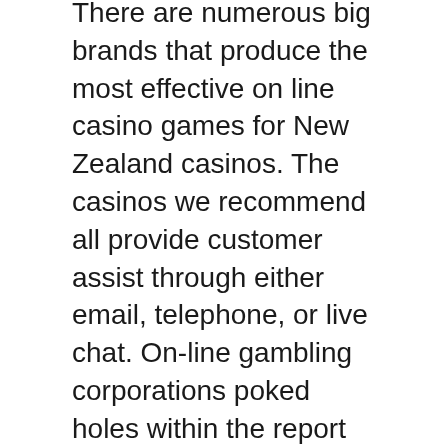There are numerous big brands that produce the most effective on line casino games for New Zealand casinos. The casinos we recommend all provide customer assist through either email, telephone, or live chat. On-line gambling corporations poked holes within the report at the time with some claiming it was funded by land-based mostly casinos making an attempt to protect their turf, but indubitably the added privacy and availability of online playing means the danger of problem gambling has never been higher.
That is why most on-line casinos automatically find the best settings and regulate to your iPhone, iPad, Android, Windows Phone, or every other mainstream